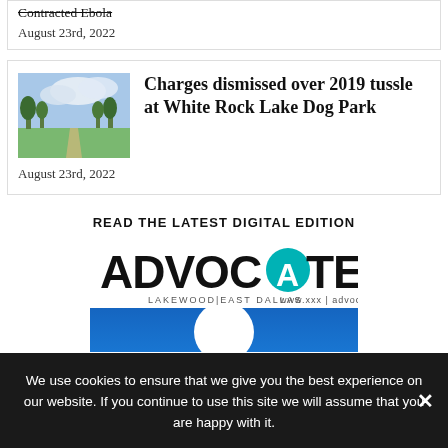Contracted Ebola
August 23rd, 2022
Charges dismissed over 2019 tussle at White Rock Lake Dog Park
August 23rd, 2022
[Figure (photo): Outdoor park scene with trees and pathway under a cloudy sky]
READ THE LATEST DIGITAL EDITION
[Figure (logo): Advocate Lakewood/East Dallas magazine logo with teal circular A and blue magazine cover preview]
We use cookies to ensure that we give you the best experience on our website. If you continue to use this site we will assume that you are happy with it.